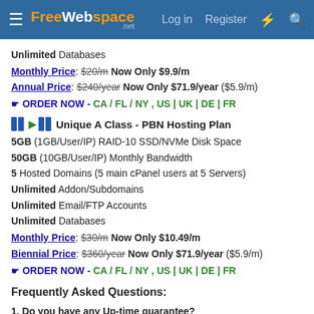FreeWebSpace.net — Log in | Register
Unlimited Databases
Monthly Price: $20/m Now Only $9.9/m
Annual Price: $240/year Now Only $71.9/year ($5.9/m)
ORDER NOW - CA / FL / NY , US | UK | DE | FR
Unique A Class - PBN Hosting Plan
5GB (1GB/User/IP) RAID-10 SSD/NVMe Disk Space
50GB (10GB/User/IP) Monthly Bandwidth
5 Hosted Domains (5 main cPanel users at 5 Servers)
Unlimited Addon/Subdomains
Unlimited Email/FTP Accounts
Unlimited Databases
Monthly Price: $30/m Now Only $10.49/m
Biennial Price: $360/year Now Only $71.9/year ($5.9/m)
ORDER NOW - CA / FL / NY , US | UK | DE | FR
Frequently Asked Questions:
1. Do you have any Up-time guarantee?